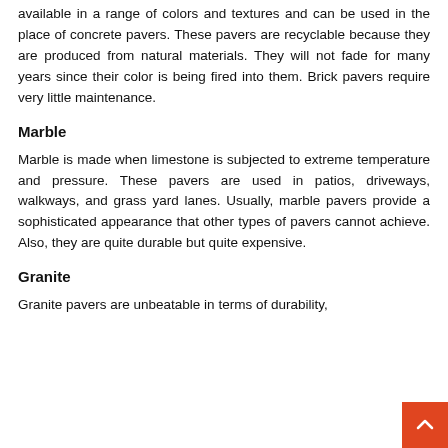available in a range of colors and textures and can be used in the place of concrete pavers. These pavers are recyclable because they are produced from natural materials. They will not fade for many years since their color is being fired into them. Brick pavers require very little maintenance.
Marble
Marble is made when limestone is subjected to extreme temperature and pressure. These pavers are used in patios, driveways, walkways, and grass yard lanes. Usually, marble pavers provide a sophisticated appearance that other types of pavers cannot achieve. Also, they are quite durable but quite expensive.
Granite
Granite pavers are unbeatable in terms of durability,